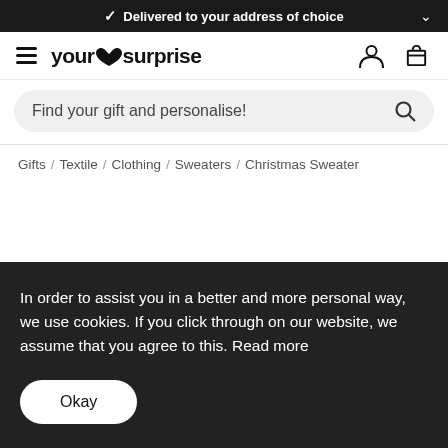✓ Delivered to your address of choice
[Figure (logo): YourSurprise logo with hamburger menu, user icon and cart icon]
Find your gift and personalise!
Gifts / Textile / Clothing / Sweaters / Christmas Sweater
In order to assist you in a better and more personal way, we use cookies. If you click through on our website, we assume that you agree to this. Read more
Okay